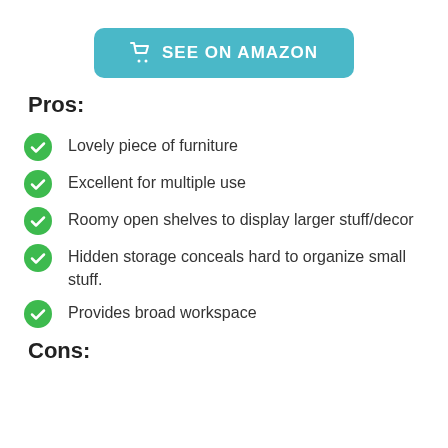[Figure (other): Teal rounded button with shopping cart icon and text SEE ON AMAZON]
Pros:
Lovely piece of furniture
Excellent for multiple use
Roomy open shelves to display larger stuff/decor
Hidden storage conceals hard to organize small stuff.
Provides broad workspace
Cons: